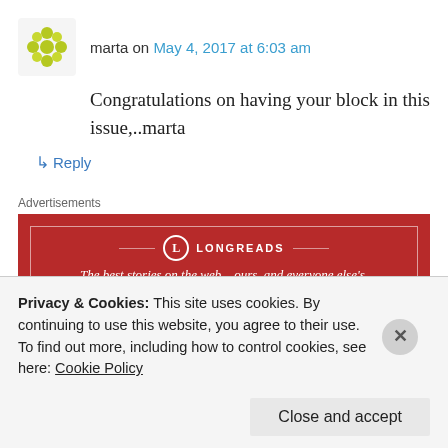marta on May 4, 2017 at 6:03 am
Congratulations on having your block in this issue,..marta
↳ Reply
Advertisements
[Figure (other): Longreads advertisement banner: red background with white border, Longreads logo and tagline 'The best stories on the web – ours, and everyone else's.']
Lee on May 4, 2017 at 9:00 am
Privacy & Cookies: This site uses cookies. By continuing to use this website, you agree to their use.
To find out more, including how to control cookies, see here: Cookie Policy